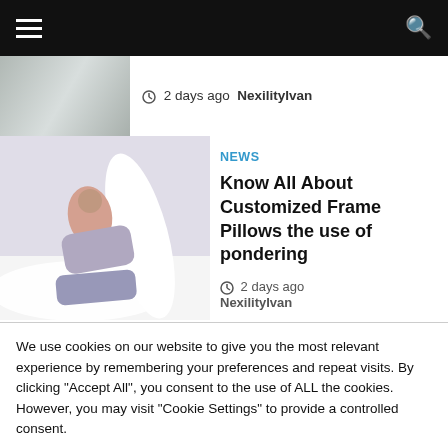Navigation bar with hamburger menu and search icon
2 days ago  NexilityIvan
[Figure (photo): Person sleeping with a large body pillow on a bed with white sheets]
NEWS
Know All About Customized Frame Pillows the use of pondering
2 days ago
NexilityIvan
We use cookies on our website to give you the most relevant experience by remembering your preferences and repeat visits. By clicking "Accept All", you consent to the use of ALL the cookies. However, you may visit "Cookie Settings" to provide a controlled consent.
Cookie Settings
Accept All